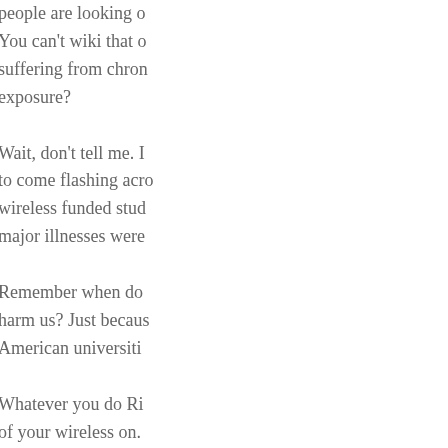people are looking… You can't wiki that… suffering from chro… exposure?
Wait, don't tell me. … to come flashing acr… wireless funded stu… major illnesses were…
Remember when do… harm us? Just becau… American universiti…
Whatever you do Ri… of your wireless on.
Reply
Richard says: